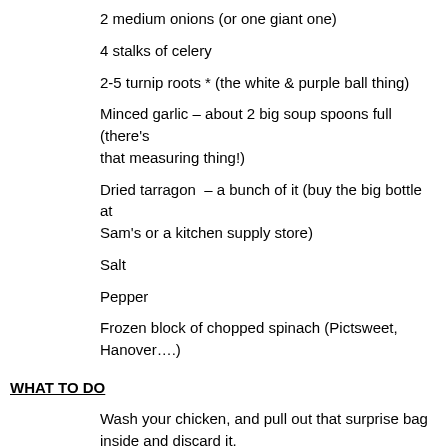2 medium onions (or one giant one)
4 stalks of celery
2-5 turnip roots * (the white & purple ball thing)
Minced garlic – about 2 big soup spoons full (there's that measuring thing!)
Dried tarragon – a bunch of it (buy the big bottle at Sam's or a kitchen supply store)
Salt
Pepper
Frozen block of chopped spinach (Pictsweet, Hanover….)
WHAT TO DO
Wash your chicken, and pull out that surprise bag inside and discard it.
Plop your clean chick in a large stockpot.